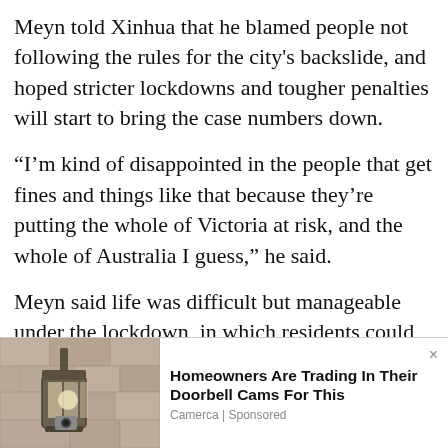Meyn told Xinhua that he blamed people not following the rules for the city's backslide, and hoped stricter lockdowns and tougher penalties will start to bring the case numbers down.
“I’m kind of disappointed in the people that get fines and things like that because they’re putting the whole of Victoria at risk, and the whole of Australia I guess,” he said.
Meyn said life was difficult but manageable under the lockdown, in which residents could still go to work in essential industries,
[Figure (photo): Outdoor wall-mounted lantern/light fixture on a stone or stucco wall, shown in partial view at bottom-left of page as part of an advertisement]
Homeowners Are Trading In Their Doorbell Cams For This
Camerca | Sponsored